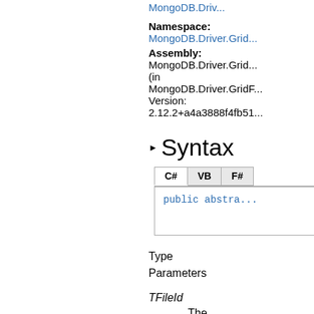MongoDB.Driv...
Namespace:
MongoDB.Driver.Grid...
Assembly:
MongoDB.Driver.Grid... (in MongoDB.Driver.GridF... Version: 2.12.2+a4a3888f4fb51...
Syntax
C#   VB   F#
public abstra...
Type Parameters
TFileId
The type of the file identifier.